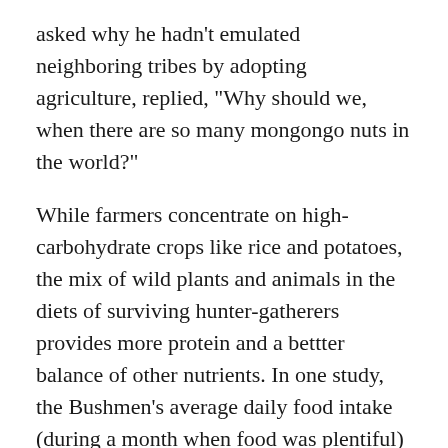asked why he hadn't emulated neighboring tribes by adopting agriculture, replied, "Why should we, when there are so many mongongo nuts in the world?"
While farmers concentrate on high-carbohydrate crops like rice and potatoes, the mix of wild plants and animals in the diets of surviving hunter-gatherers provides more protein and a bettter balance of other nutrients. In one study, the Bushmen's average daily food intake (during a month when food was plentiful) was 2,140 calories and 93 grams of protein, considerably greater than the recommended daily